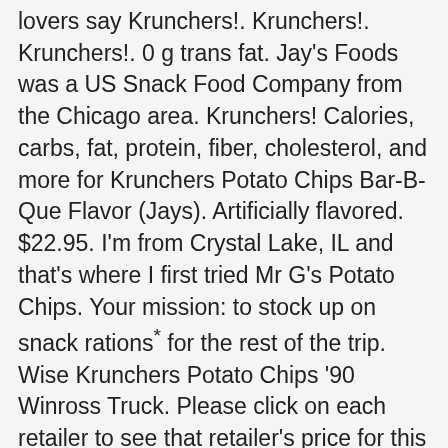lovers say Krunchers!. Krunchers!. Krunchers!. 0 g trans fat. Jay's Foods was a US Snack Food Company from the Chicago area. Krunchers! Calories, carbs, fat, protein, fiber, cholesterol, and more for Krunchers Potato Chips Bar-B-Que Flavor (Jays). Artificially flavored. $22.95. I'm from Crystal Lake, IL and that's where I first tried Mr G's Potato Chips. Your mission: to stock up on snack rations* for the rest of the trip. Wise Krunchers Potato Chips '90 Winross Truck. Please click on each retailer to see that retailer's price for this product. range of Kettle Cooked Chips and made them a standalone brand. Buy Krunchers! Learn the … – Hot Buffalo Wing Kettle Cooked Potato Chips. As always 30% less fat than regular potato chips. Krunchers Kettle Cooked Jalapeno Potato Chips. Nutrition. The newly-shaped chips came in four flavors, including Nacho Cheesier, Zesty Taco, Cooler Ranch, and Queso Picante. Details about Wise Krunchers Potato Chips '90 Winross Truck. Kettle Cooked Hot Buffalo Wing Potato Chips (8 oz) online and have it delivered to your door in as fast as 1 hour. Jay's Foods was